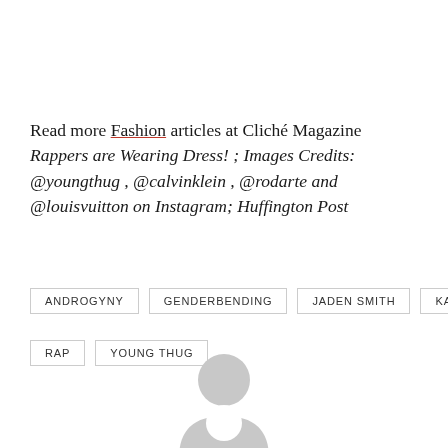Read more Fashion articles at Cliché Magazine Rappers are Wearing Dress! ; Images Credits: @youngthug , @calvinklein , @rodarte and @louisvuitton on Instagram; Huffington Post
ANDROGYNY
GENDERBENDING
JADEN SMITH
KAYNE
RAP
YOUNG THUG
[Figure (illustration): Partial avatar/user icon silhouette in light gray at bottom center of page]